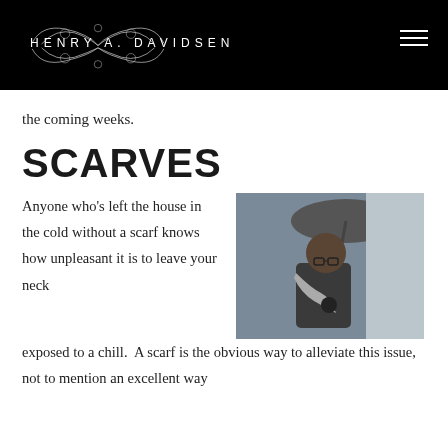HENRY A. DAVIDSEN
the coming weeks.
SCARVES
[Figure (photo): Man wearing a grey scarf and dark coat, holding a black umbrella, looking down in cold weather]
Anyone who's left the house in the cold without a scarf knows how unpleasant it is to leave your neck exposed to a chill.  A scarf is the obvious way to alleviate this issue, not to mention an excellent way